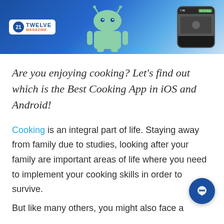[Figure (illustration): Banner with blue gradient background, Android robot icon in center, 21Twelve Magazine logo on left, phone mockup on right with green button]
Are you enjoying cooking? Let's find out which is the Best Cooking App in iOS and Android!
Cooking is an integral part of life. Staying away from family due to studies, looking after your family are important areas of life where you need to implement your cooking skills in order to survive.
But like many others, you might also face a